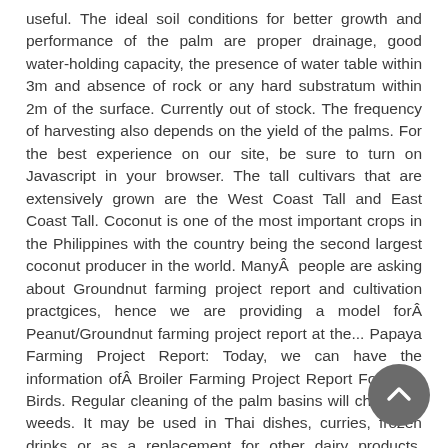useful. The ideal soil conditions for better growth and performance of the palm are proper drainage, good water-holding capacity, the presence of water table within 3m and absence of rock or any hard substratum within 2m of the surface. Currently out of stock. The frequency of harvesting also depends on the yield of the palms. For the best experience on our site, be sure to turn on Javascript in your browser. The tall cultivars that are extensively grown are the West Coast Tall and East Coast Tall. Coconut is one of the most important crops in the Philippines with the country being the second largest coconut producer in the world. ManyÂ  people are asking about Groundnut farming project report and cultivation practgices, hence we are providing a model forÂ Peanut/Groundnut farming project report at the... Papaya Farming Project Report: Today, we can have the information ofÂ Broiler Farming Project Report For 1000 Birds. Regular cleaning of the palm basins will check the weeds. It may be used in Thai dishes, curries, frozen drinks or as a replacement for other dairy products. Nature's Superfoods Organic Light Virgin Coconut Oil (glass jar) 500ml • Organic. This Free Cholestrol Extract Can Be Used To Make Curry, Asian Cuisines, Savory Dishes And Desserts. RM3.36. Save 10% more with Subscribe & Save . The losses... Guava Grafting Methods, Pruning Procedure, and Training Prawn farming is a risky business for new entrepreneurs and... Introduction of Sahiwal Cow breed: inside the small pit before